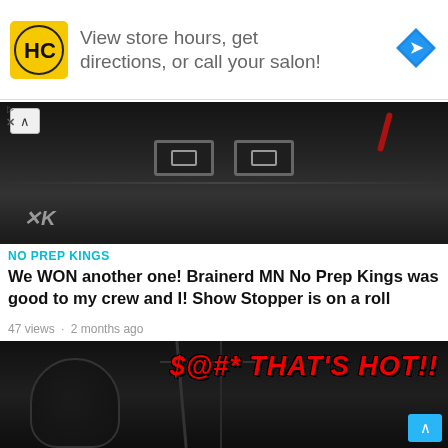[Figure (infographic): Advertisement banner with HC salon logo (yellow/black), text 'View store hours, get directions, or call your salon!', and a blue navigation arrow icon on the right.]
[Figure (photo): Close-up photo of a dark/black car front end showing dual rectangular LED headlights and hood, with a stylized K logo badge on the lower left. A chevron/up arrow button appears in the upper left corner.]
NO PREP KINGS
We WON another one! Brainerd MN No Prep Kings was good to my crew and I! Show Stopper is on a roll
47 views · 2 months ago
[Figure (photo): Photo of a race car driver in a full helmet and black racing suit sitting in a race car cockpit with roll cage visible. Overlaid text in red bold italic reads '$@#* THAT'S HOT!!']